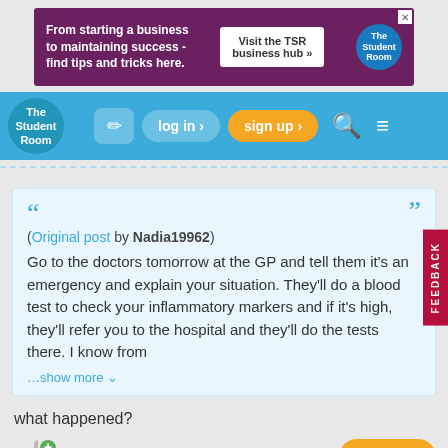[Figure (screenshot): Advertisement banner for 'The Student Room' business hub. Dark purple/maroon background with text: 'From starting a business to maintaining success - find tips and tricks here.' and a 'Visit the TSR business hub »' button.]
[Figure (screenshot): The Student Room navigation bar with logo, edit icon, log in button, sign up button (orange), search icon, and menu icon.]
(Original post by Nadia19962)
Go to the doctors tomorrow at the GP and tell them it's an emergency and explain your situation. They'll do a blood test to check your inflammatory markers and if it's high, they'll refer you to the hospital and they'll do the tests there. I know from
...show more
what happened?
0
reply
Anonymous #8
#73